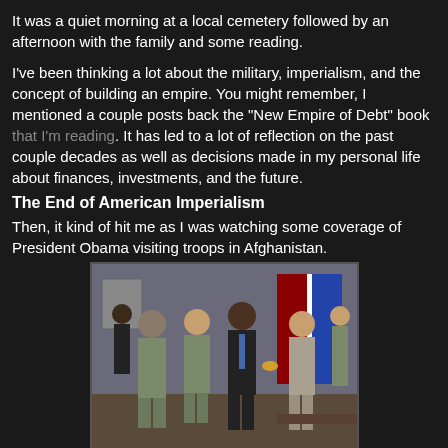It was a quiet morning at a local cemetery followed by an afternoon with the family and some reading.
I've been thinking a lot about the military, imperialism, and the concept of building an empire. You might remember, I mentioned a couple posts back the "New Empire of Debt" book that I'm reading. It has led to a lot of reflection on the past couple decades as well as decisions made in my personal life about finances, investments, and the future.
The End of American Imperialism
Then, it kind of hit me as I was watching some coverage of President Obama visiting troops in Afghanistan.
[Figure (photo): President Obama shaking hands with a soldier, with other soldiers and flags in the background.]
President Obama in Afghanistan. Credit: NYTimes.com